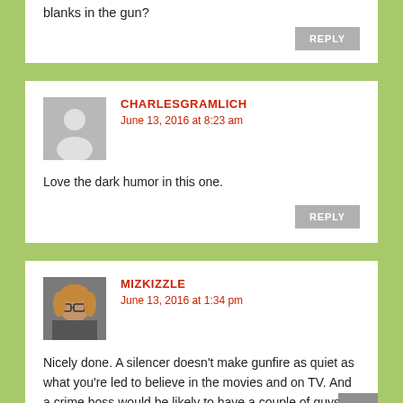blanks in the gun?
REPLY
CHARLESGRAMLICH
June 13, 2016 at 8:23 am
Love the dark humor in this one.
REPLY
MIZKIZZLE
June 13, 2016 at 1:34 pm
Nicely done. A silencer doesn't make gunfire as quiet as what you're led to believe in the movies and on TV. And a crime boss would be likely to have a couple of guys hanging